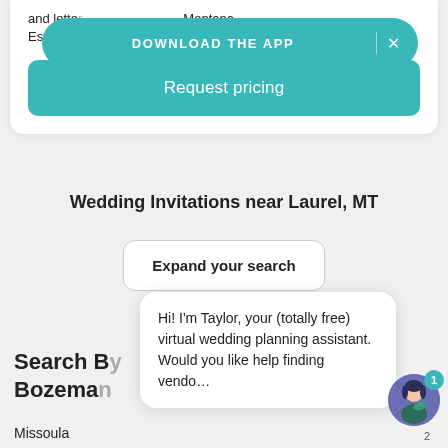and lette... Montana. Establis...
DOWNLOAD THE APP  ×
Request pricing
Wedding Invitations near Laurel, MT
Expand your search
Search B... Bozema...
Hi! I'm Taylor, your (totally free) virtual wedding planning assistant. Would you like help finding vendo...
Missoula
1
2